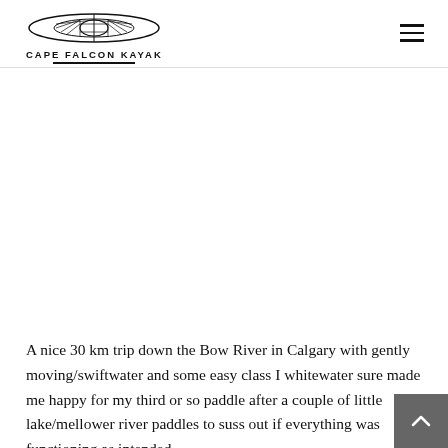CAPE FALCON KAYAK
A nice 30 km trip down the Bow River in Calgary with gently moving/swiftwater and some easy class I whitewater sure made me happy for my third or so paddle after a couple of little lake/mellower river paddles to suss out if everything was functioning as intended.